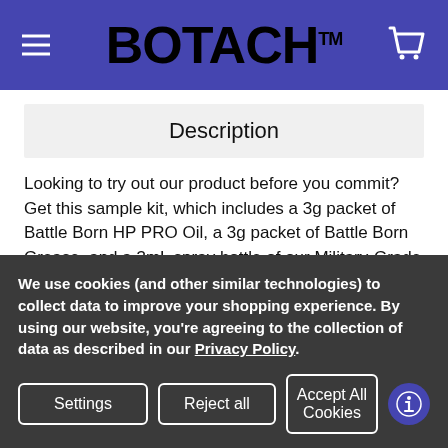BOTACH™
Description
Looking to try out our product before you commit? Get this sample kit, which includes a 3g packet of Battle Born HP PRO Oil, a 3g packet of Battle Born Grease, and a 3mL spray bottle of our Military-Grade Solvent.
WARNING This product may contain chemicals known to the State of California to cause cancer and birth defects or other reproductive
We use cookies (and other similar technologies) to collect data to improve your shopping experience. By using our website, you're agreeing to the collection of data as described in our Privacy Policy.
Settings
Reject all
Accept All Cookies